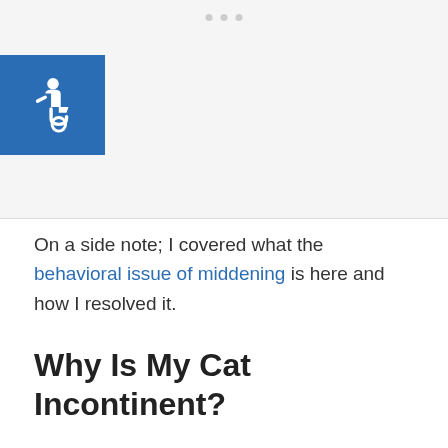[Figure (other): Gray background area with three small gray dots at top center and a blue accessibility icon (wheelchair symbol) in the upper left corner]
On a side note; I covered what the behavioral issue of middening is here and how I resolved it.
Why Is My Cat Incontinent?
There are a number of reasons why a cat is – or becomes – incontinent. The most common